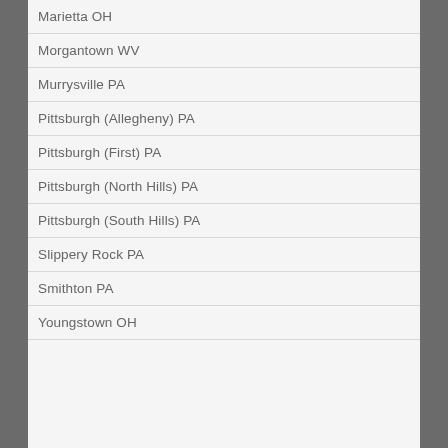Marietta OH
Morgantown WV
Murrysville PA
Pittsburgh (Allegheny) PA
Pittsburgh (First) PA
Pittsburgh (North Hills) PA
Pittsburgh (South Hills) PA
Slippery Rock PA
Smithton PA
Youngstown OH